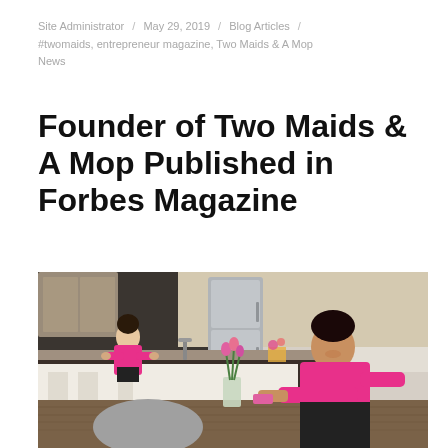Site Administrator / May 29, 2019 / Blog Articles / #twomaids, entrepreneur magazine, Two Maids & A Mop News
Founder of Two Maids & A Mop Published in Forbes Magazine
[Figure (photo): Two women in pink uniforms cleaning a kitchen and dining area. One woman is in the background wiping the kitchen counter, and another in the foreground is leaning over a wooden dining table wiping it. There is a vase of pink tulips on the table.]